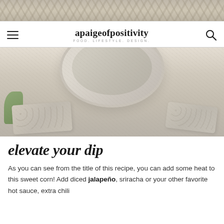[Figure (photo): Top strip showing food in a bowl, cropped partial view]
apaigeofpositivity FOOD. LIFESTYLE. DESIGN.
[Figure (photo): Main food photo showing a stone mortar bowl with corn dip and chips/crackers, herbs on the side, light background]
elevate your dip
As you can see from the title of this recipe, you can add some heat to this sweet corn! Add diced jalapeño, sriracha or your other favorite hot sauce, extra chili